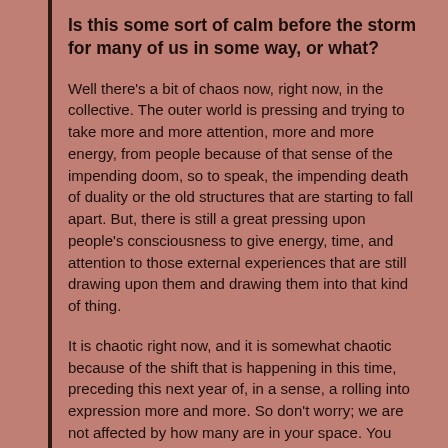Is this some sort of calm before the storm for many of us in some way, or what?
Well there's a bit of chaos now, right now, in the collective. The outer world is pressing and trying to take more and more attention, more and more energy, from people because of that sense of the impending doom, so to speak, the impending death of duality or the old structures that are starting to fall apart. But, there is still a great pressing upon people's consciousness to give energy, time, and attention to those external experiences that are still drawing upon them and drawing them into that kind of thing.
It is chaotic right now, and it is somewhat chaotic because of the shift that is happening in this time, preceding this next year of, in a sense, a rolling into expression more and more. So don't worry; we are not affected by how many are in your space. You might find creative ways to share this material in different ways than only person-to-person, or channeled person or whoever I am at this moment.